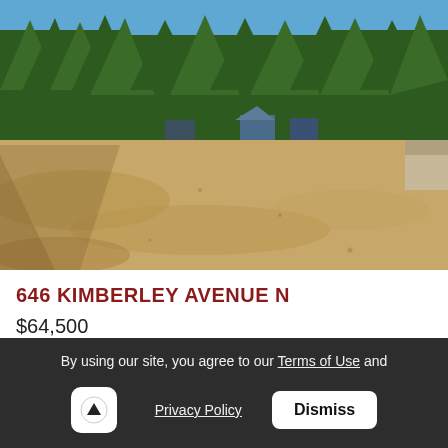[Figure (photo): Outdoor photo of a large open vacant land parcel with dry sandy/gravel ground. Dense conifer forest (tall evergreen trees) fills the background under a blue sky. Some small buildings or structures are visible in the middle distance among the trees.]
646 KIMBERLEY AVENUE N
$64,500
Vacant Land for Sale in Greenwood, British Columbia
By using our site, you agree to our Terms of Use and Privacy Policy
Dismiss